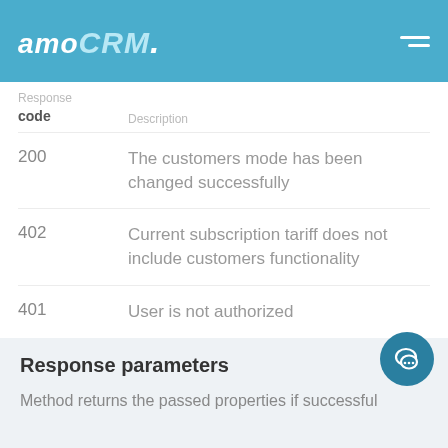amoCRM.
| Response code | Description |
| --- | --- |
| 200 | The customers mode has been changed successfully |
| 402 | Current subscription tariff does not include customers functionality |
| 401 | User is not authorized |
| 400 | Invalid data given. Details are available in the request response |
Response parameters
Method returns the passed properties if successful